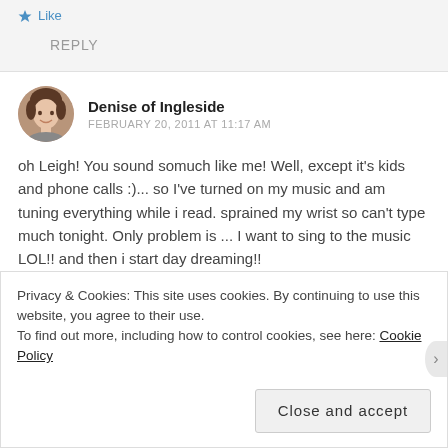Like
REPLY
Denise of Ingleside
FEBRUARY 20, 2011 AT 11:17 AM
oh Leigh! You sound somuch like me! Well, except it's kids and phone calls :)... so I've turned on my music and am tuning everything while i read. sprained my wrist so can't type much tonight. Only problem is ... I want to sing to the music LOL!! and then i start day dreaming!!
Privacy & Cookies: This site uses cookies. By continuing to use this website, you agree to their use.
To find out more, including how to control cookies, see here: Cookie Policy
Close and accept